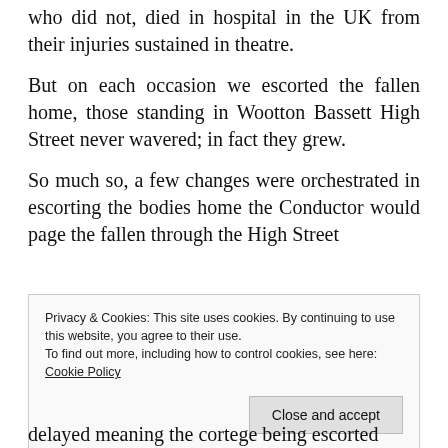who did not, died in hospital in the UK from their injuries sustained in theatre.
But on each occasion we escorted the fallen home, those standing in Wootton Bassett High Street never wavered; in fact they grew.
So much so, a few changes were orchestrated in escorting the bodies home the Conductor would page the fallen through the High Street
Privacy & Cookies: This site uses cookies. By continuing to use this website, you agree to their use. To find out more, including how to control cookies, see here: Cookie Policy
Close and accept
delayed meaning the cortege being escorted